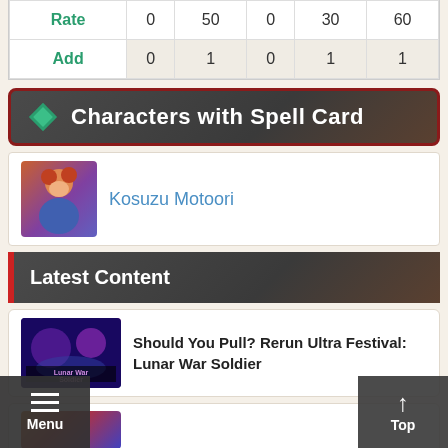|  |  |  |  |  |  |
| --- | --- | --- | --- | --- | --- |
| Rate | 0 | 50 | 0 | 30 | 60 |
| Add | 0 | 1 | 0 | 1 | 1 |
Characters with Spell Card
[Figure (illustration): Character portrait of Kosuzu Motoori, anime-style girl with orange hair wearing a blue outfit]
Kosuzu Motoori
Latest Content
[Figure (screenshot): Thumbnail image for 'Should You Pull? Rerun Ultra Festival: Lunar War Soldier' article, showing purple/blue game art with text 'Lunar War Soldier']
Should You Pull? Rerun Ultra Festival: Lunar War Soldier